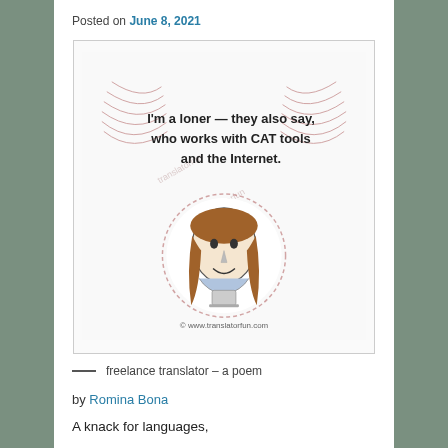Posted on June 8, 2021
[Figure (illustration): Cartoon illustration of a translator character with text: I'm a loner — they also say, who works with CAT tools and the Internet. Features a simple face with brown hair in a circle stamp design. Credit: www.translatorfun.com]
— freelance translator – a poem
by Romina Bona
A knack for languages,